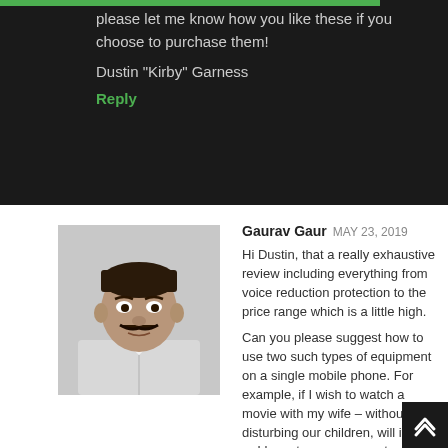please let me know how you like these if you choose to purchase them!
Dustin "Kirby" Garness
Reply
Gaurav Gaur MAY 23, 2019
[Figure (photo): Profile photo of Gaurav Gaur, a middle-aged man with a mustache wearing a white shirt]
Hi Dustin, that a really exhaustive review including everything from voice reduction protection to the price range which is a little high.
Can you please suggest how to use two such types of equipment on a single mobile phone. For example, if I wish to watch a movie with my wife – without disturbing our children, will it work or I have to use some extra accessory.
Anyway, thanks once again for the in-depth review.
Warm Regards,
Gaurav Gaur